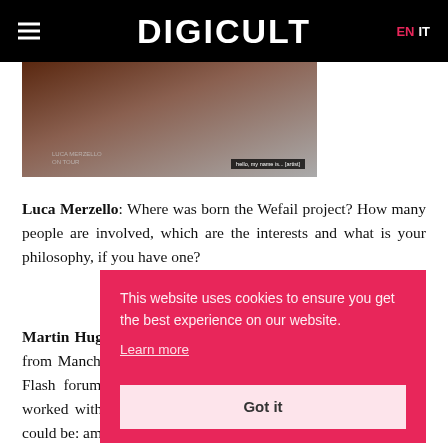DIGICULT  EN IT
[Figure (photo): Partial photo of a desk scene with books and a name placard, partially cut off at top]
Luca Merzello: Where was born the Wefail project? How many people are involved, which are the interests and what is your philosophy, if you have one?
Martin Hughes: Wefail is made of two people: Martin Hughes from Manchester and Jordan Stone from Austin . We met on a Flash forum and we began to work together since then. We worked with the net and we met once a year. Our philosophy could be: amuse
This website uses cookies to ensure you get the best experience on our website.
Learn more
Got it